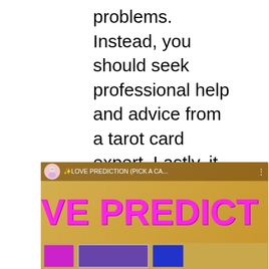problems. Instead, you should seek professional help and advice from a tarot card expert. Lastly, it is always wise to do some research before choosing a tarot card reader because only you know whether they are clairvoyant and experienced in tarot card reading.
[Figure (screenshot): Screenshot of a YouTube video thumbnail showing 'LOVE PREDICTION (PICK A CA...' with a circular avatar icon on the left, three-dot menu on the right, bold magenta text 'VE PREDICT' on a golden-brown background, and colored cards (magenta, purple, blue) along the bottom.]